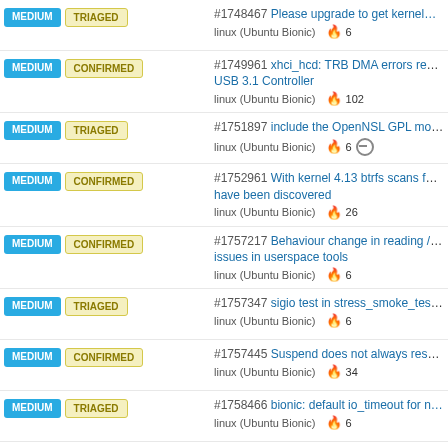MEDIUM TRIAGED #1748467 Please upgrade to get kernel... linux (Ubuntu Bionic) 🔥 6
MEDIUM CONFIRMED #1749961 xhci_hcd: TRB DMA errors repo... USB 3.1 Controller linux (Ubuntu Bionic) 🔥 102
MEDIUM TRIAGED #1751897 include the OpenNSL GPL modu... linux (Ubuntu Bionic) 🔥 6
MEDIUM CONFIRMED #1752961 With kernel 4.13 btrfs scans for... have been discovered linux (Ubuntu Bionic) 🔥 26
MEDIUM CONFIRMED #1757217 Behaviour change in reading /p... issues in userspace tools linux (Ubuntu Bionic) 🔥 6
MEDIUM TRIAGED #1757347 sigio test in stress_smoke_test v... linux (Ubuntu Bionic) 🔥 6
MEDIUM CONFIRMED #1757445 Suspend does not always resum... linux (Ubuntu Bionic) 🔥 34
MEDIUM TRIAGED #1758466 bionic: default io_timeout for n... linux (Ubuntu Bionic) 🔥 6
MEDIUM FIX COMMITTED #1763967 rmmod b43 hangs